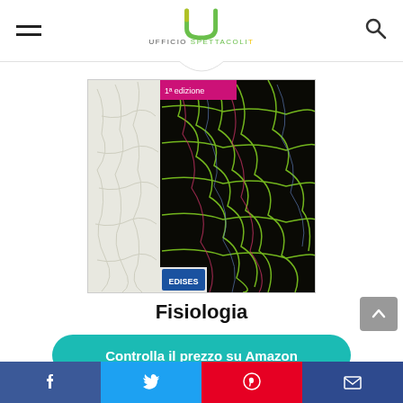Ufficio Spettacoli
[Figure (photo): Book cover of Fisiologia (Physiology), 1st edition, showing fluorescent microscopy image of biological tissue networks in green on dark background with colored filaments. Publisher logo visible at bottom left.]
Fisiologia
Controlla il prezzo su Amazon
Amazon.it
Free shipping
Social share bar: Facebook, Twitter, Pinterest, Email